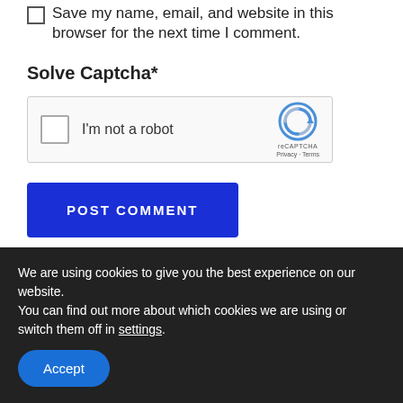Save my name, email, and website in this browser for the next time I comment.
Solve Captcha*
[Figure (other): reCAPTCHA widget with checkbox labeled 'I'm not a robot', Google reCAPTCHA logo, Privacy and Terms links]
POST COMMENT
We are using cookies to give you the best experience on our website.
You can find out more about which cookies we are using or switch them off in settings.
Accept